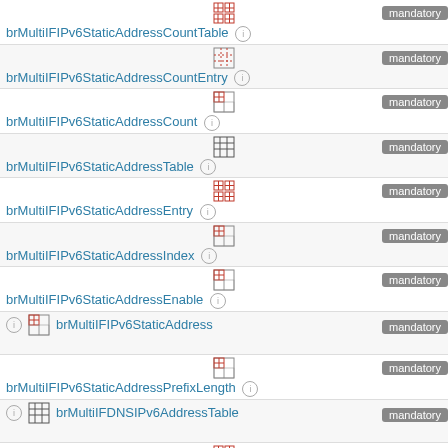brMultiIFIPv6StaticAddressCountTable [i] mandatory
brMultiIFIPv6StaticAddressCountEntry [i] mandatory
brMultiIFIPv6StaticAddressCount [i] mandatory
brMultiIFIPv6StaticAddressTable [i] mandatory
brMultiIFIPv6StaticAddressEntry [i] mandatory
brMultiIFIPv6StaticAddressIndex [i] mandatory
brMultiIFIPv6StaticAddressEnable [i] mandatory
brMultiIFIPv6StaticAddress [i] mandatory
brMultiIFIPv6StaticAddressPrefixLength [i] mandatory
brMultiIFDNSIPv6AddressTable [i] mandatory
brMultiIFDNSIPv6AddressEntry [i] mandatory